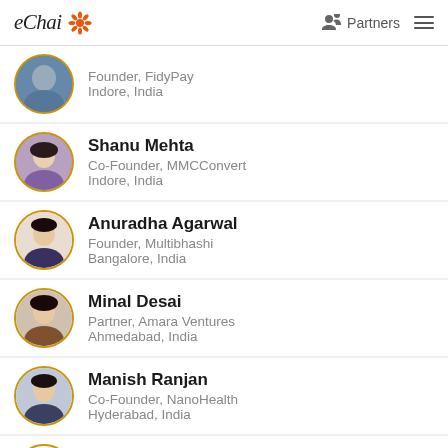eChai | Partners
Founder, FidyPay | Indore, India
Shanu Mehta | Co-Founder, MMCConvert | Indore, India
Anuradha Agarwal | Founder, Multibhashi | Bangalore, India
Minal Desai | Partner, Amara Ventures | Ahmedabad, India
Manish Ranjan | Co-Founder, NanoHealth | Hyderabad, India
Harshal Katre | Founder, ProfitBooks | Pune, India